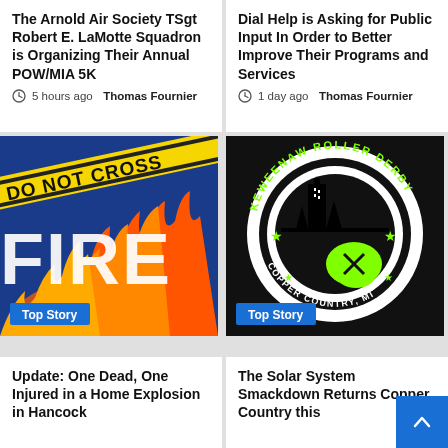The Arnold Air Society TSgt Robert E. LaMotte Squadron is Organizing Their Annual POW/MIA 5K
5 hours ago  Thomas Fournier
Dial Help is Asking for Public Input In Order to Better Improve Their Programs and Services
1 day ago  Thomas Fournier
[Figure (photo): FIRE graphic with DO NOT CROSS tape, flames, Top Story badge]
[Figure (logo): Keweenaw Roller Derby Copper Country MI circular logo with skater illustration, Top Story badge]
Update: One Dead, One Injured in a Home Explosion in Hancock
The Solar System Smackdown Returns Copper Country this